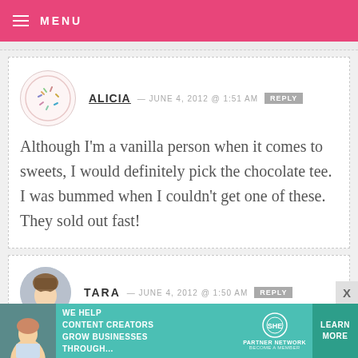MENU
ALICIA — JUNE 4, 2012 @ 1:51 AM  REPLY
Although I'm a vanilla person when it comes to sweets, I would definitely pick the chocolate tee. I was bummed when I couldn't get one of these. They sold out fast!
TARA — JUNE 4, 2012 @ 1:50 AM  REPLY
[Figure (infographic): SHE Partner Network advertisement: We help content creators grow businesses through... Learn More button]